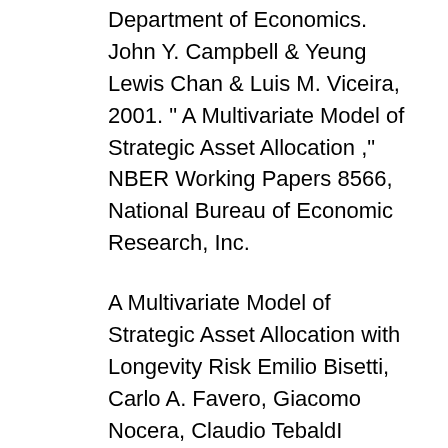Department of Economics. John Y. Campbell & Yeung Lewis Chan & Luis M. Viceira, 2001. " A Multivariate Model of Strategic Asset Allocation ," NBER Working Papers 8566, National Bureau of Economic Research, Inc.
A Multivariate Model of Strategic Asset Allocation with Longevity Risk Emilio Bisetti, Carlo A. Favero, Giacomo Nocera, Claudio TebaldI Abstract Population-wide increase in life expectancy is a source of aggregate risk. Longevity-linked securities are a natural instrument to reallocate it. This paper extends the standard Campbell and Viceira (2005) strategic asset allocation model by selection of specific